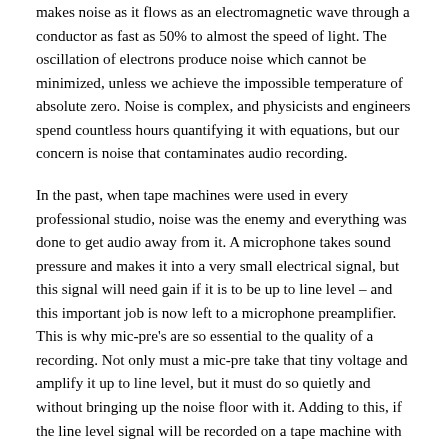makes noise as it flows as an electromagnetic wave through a conductor as fast as 50% to almost the speed of light. The oscillation of electrons produce noise which cannot be minimized, unless we achieve the impossible temperature of absolute zero. Noise is complex, and physicists and engineers spend countless hours quantifying it with equations, but our concern is noise that contaminates audio recording.
In the past, when tape machines were used in every professional studio, noise was the enemy and everything was done to get audio away from it. A microphone takes sound pressure and makes it into a very small electrical signal, but this signal will need gain if it is to be up to line level – and this important job is now left to a microphone preamplifier. This is why mic-pre's are so essential to the quality of a recording. Not only must a mic-pre take that tiny voltage and amplify it up to line level, but it must do so quietly and without bringing up the noise floor with it. Adding to this, if the line level signal will be recorded on a tape machine with inherent noise, the mic-pre specifications for noise must be better than the noise specifications for a tape machine which, at best, is